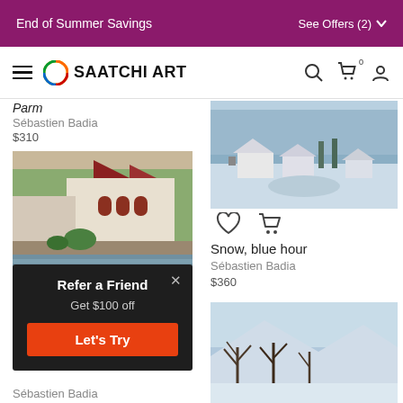End of Summer Savings   See Offers (2)
[Figure (logo): Saatchi Art logo with hamburger menu, colorful circle icon, and nav icons (search, cart, user)]
Parm
Sébastien Badia
$310
[Figure (photo): Painting of a European village building with red arched windows, stone wall, water reflection, and green trees]
[Figure (screenshot): Popup overlay: Refer a Friend - Get $100 off - Let's Try button (orange), close X]
Sébastien Badia
[Figure (photo): Winter landscape painting showing snow-covered village with houses, trees, and snowy hills at blue hour]
Snow, blue hour
Sébastien Badia
$360
[Figure (photo): Partial winter scene painting at bottom right, showing bare trees and snow-covered mountains]